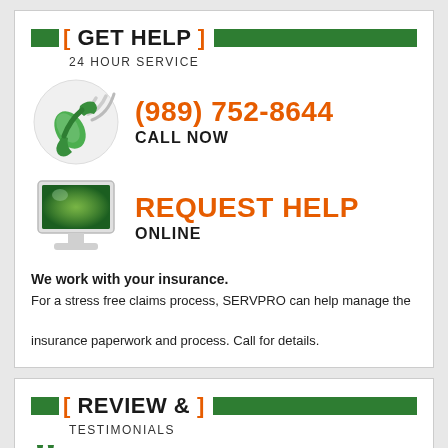[ GET HELP ] 24 HOUR SERVICE
[Figure (illustration): Green phone handset with wireless signal icon in a circle]
(989) 752-8644
CALL NOW
[Figure (illustration): Desktop computer monitor with green screen]
REQUEST HELP
ONLINE
We work with your insurance.
For a stress free claims process, SERVPRO can help manage the insurance paperwork and process. Call for details.
[ REVIEW & ] TESTIMONIALS
Very happy with experience. Did what I expected and asked in their service. Very good service in a ...